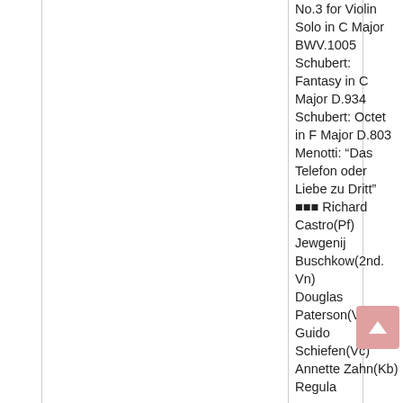No.3 for Violin Solo in C Major BWV.1005 Schubert: Fantasy in C Major D.934 Schubert: Octet in F Major D.803 Menotti: “Das Telefon oder Liebe zu Dritt” ■■■ Richard Castro(Pf) Jewgenij Buschkow(2nd. Vn) Douglas Paterson(Vla) Guido Schiefen(Vc) Annette Zahn(Kb) Regula...